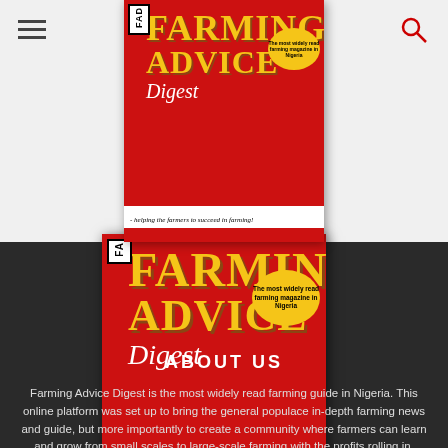[Figure (photo): Farming Advice Digest magazine cover shown twice - once as a smaller inset in the top white bar, and once larger overlapping into the dark section. Red cover with yellow text reading FARMING ADVICE Digest, FAD logo in top left, tagline 'helping the farmers to succeed in farming!', yellow oval badge 'The most widely read farming magazine in Nigeria'.]
ABOUT US
Farming Advice Digest is the most widely read farming guide in Nigeria. This online platform was set up to bring the general populace in-depth farming news and guide, but more importantly to create a community where farmers can learn and grow from small scales to large-scale farming with the profits rolling in.